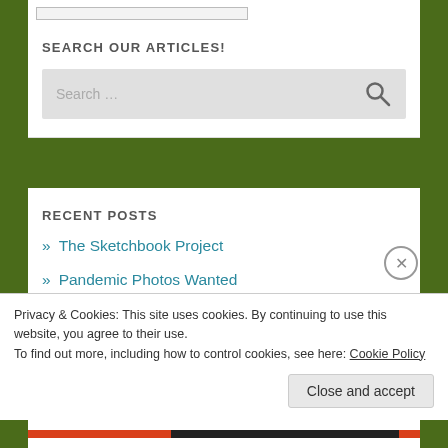SEARCH OUR ARTICLES!
[Figure (screenshot): Search input box with placeholder text 'Search ...' and a magnifying glass icon on grey background]
RECENT POSTS
» The Sketchbook Project
» Pandemic Photos Wanted
» Thoughts Betwixt Breads
Privacy & Cookies: This site uses cookies. By continuing to use this website, you agree to their use.
To find out more, including how to control cookies, see here: Cookie Policy
Close and accept